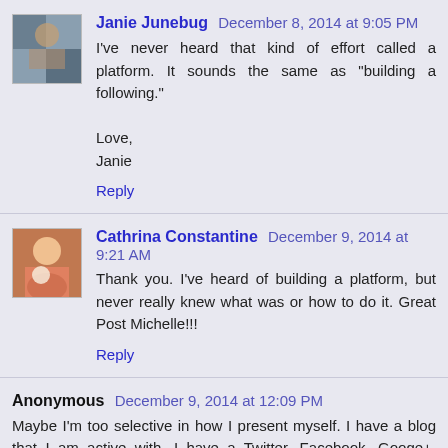Janie Junebug — December 8, 2014 at 9:05 PM
I've never heard that kind of effort called a platform. It sounds the same as "building a following."

Love,
Janie
Reply
Cathrina Constantine — December 9, 2014 at 9:21 AM
Thank you. I've heard of building a platform, but never really knew what was or how to do it. Great Post Michelle!!!
Reply
Anonymous — December 9, 2014 at 12:09 PM
Maybe I'm too selective in how I present myself. I have a blog that I am active with. I have a Twitter, Facebook, Googe+, InLink, Pinterest, Goodread and Pearltree accounts. Out of all these accounts, I'm more active at